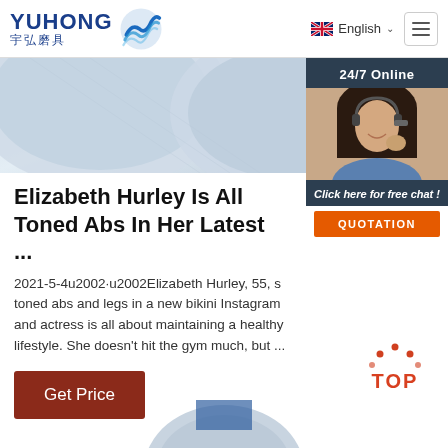[Figure (logo): Yuhong logo with blue wave icon and Chinese text 宇弘磨具]
[Figure (screenshot): Navigation header with English language selector and hamburger menu]
[Figure (photo): Close-up photo of circular grinding/abrasive wheels in light blue/grey color]
[Figure (photo): 24/7 Online chat widget with woman wearing headset, Click here for free chat, QUOTATION button]
Elizabeth Hurley Is All Toned Abs In Her Latest ...
2021-5-4u2002·u2002Elizabeth Hurley, 55, s toned abs and legs in a new bikini Instagram and actress is all about maintaining a healthy lifestyle. She doesn't hit the gym much, but ...
[Figure (other): Get Price button - brown/dark red rectangular button]
[Figure (other): TOP back-to-top button with orange dots and text]
[Figure (photo): Partial circular abrasive wheel at bottom of page]